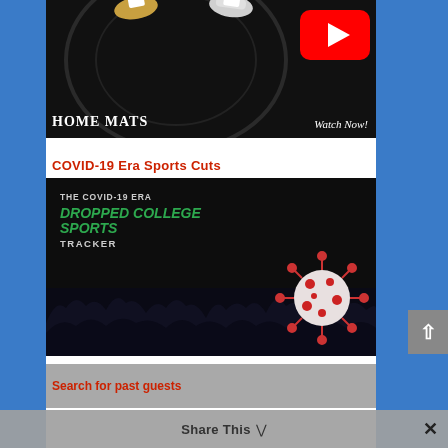[Figure (photo): Home Mats YouTube promotional image showing sneakers/feet on a dark wrestling mat with circular ring, YouTube play button overlay, text 'HOME MATS Watch Now!']
COVID-19 Era Sports Cuts
[Figure (photo): The COVID-19 Era Dropped College Sports Tracker - dark background with crowd silhouette, green bold text 'DROPPED COLLEGE SPORTS', white text 'THE COVID-19 ERA' and 'TRACKER', coronavirus particle image on right]
Search for past guests